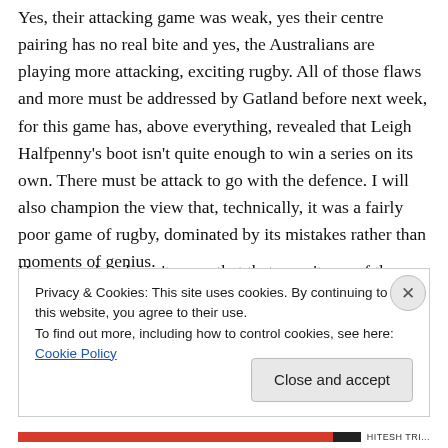Yes, their attacking game was weak, yes their centre pairing has no real bite and yes, the Australians are playing more attacking, exciting rugby. All of those flaws and more must be addressed by Gatland before next week, for this game has, above everything, revealed that Leigh Halfpenny's boot isn't quite enough to win a series on its own. There must be attack to go with the defence. I will also champion the view that, technically, it was a fairly poor game of rugby, dominated by its mistakes rather than moments of genius.
However, that doesn't mean that that wasn't one of the
Privacy & Cookies: This site uses cookies. By continuing to use this website, you agree to their use.
To find out more, including how to control cookies, see here: Cookie Policy
Close and accept